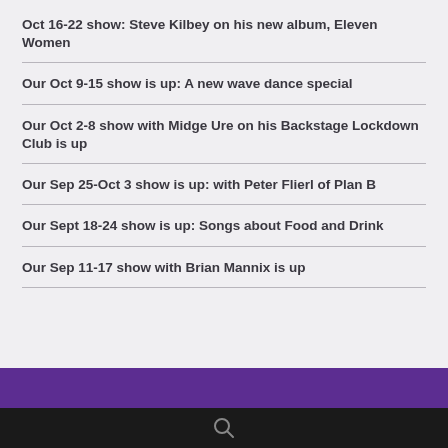Oct 16-22 show: Steve Kilbey on his new album, Eleven Women
Our Oct 9-15 show is up: A new wave dance special
Our Oct 2-8 show with Midge Ure on his Backstage Lockdown Club is up
Our Sep 25-Oct 3 show is up: with Peter Flierl of Plan B
Our Sept 18-24 show is up: Songs about Food and Drink
Our Sep 11-17 show with Brian Mannix is up